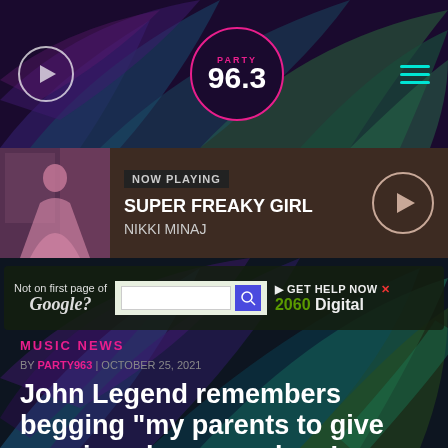[Figure (screenshot): Party 96.3 radio station website header with palm leaf background, play button, logo, and hamburger menu]
[Figure (screenshot): Now playing bar showing 'SUPER FREAKY GIRL' by NIKKI MINAJ with album thumbnail and play button]
[Figure (screenshot): Advertisement banner: Not on first page of Google? GET HELP NOW - 2060 Digital]
MUSIC NEWS
BY PARTY963 | OCTOBER 25, 2021
John Legend remembers begging "my parents to give me piano lessons when I was four years old"